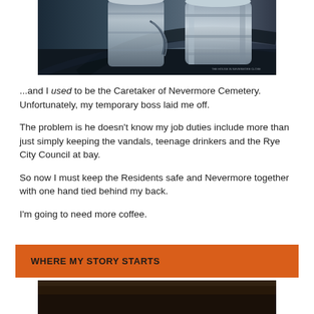[Figure (photo): Close-up black and white/dark photograph of what appears to be metal containers or drums with chains, dramatic lighting]
...and I used to be the Caretaker of Nevermore Cemetery. Unfortunately, my temporary boss laid me off.
The problem is he doesn't know my job duties include more than just simply keeping the vandals, teenage drinkers and the Rye City Council at bay.
So now I must keep the Residents safe and Nevermore together with one hand tied behind my back.
I'm going to need more coffee.
WHERE MY STORY STARTS
[Figure (photo): Partial dark photograph visible at bottom of page]